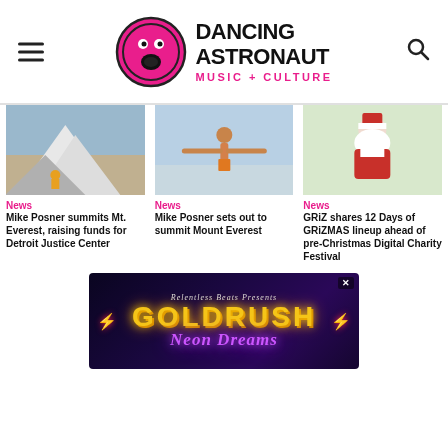Dancing Astronaut — Music + Culture
[Figure (photo): Mike Posner sitting in snow gear on a snowy mountain]
News
Mike Posner summits Mt. Everest, raising funds for Detroit Justice Center
[Figure (photo): Mike Posner shirtless with arms spread wide at the beach]
News
Mike Posner sets out to summit Mount Everest
[Figure (photo): Person dressed in Santa Claus costume]
News
GRiZ shares 12 Days of GRiZMAS lineup ahead of pre-Christmas Digital Charity Festival
[Figure (infographic): Relentless Beats Presents Goldrush Neon Dreams advertisement banner]